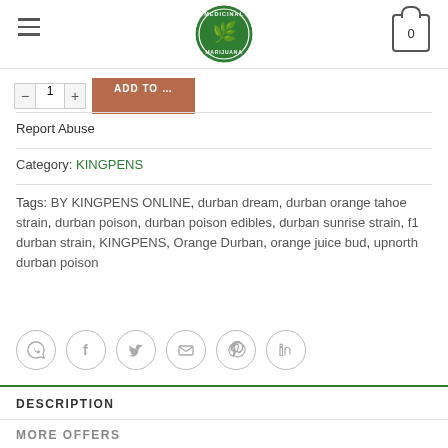[Figure (logo): Medicinal Marijuana circular logo with cannabis leaf, green and white]
Report Abuse
Category: KINGPENS
Tags: BY KINGPENS ONLINE, durban dream, durban orange tahoe strain, durban poison, durban poison edibles, durban sunrise strain, f1 durban strain, KINGPENS, Orange Durban, orange juice bud, upnorth durban poison
[Figure (other): Social sharing icons: WhatsApp, Facebook, Twitter, Email, Pinterest, LinkedIn]
DESCRIPTION
MORE OFFERS